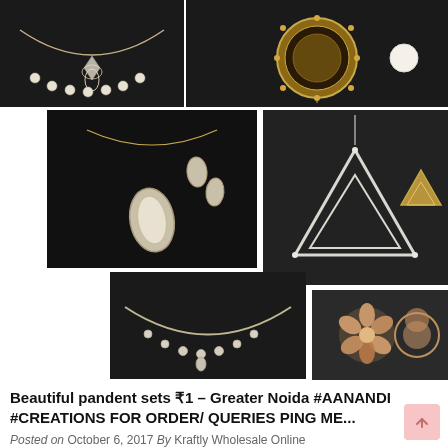[Figure (photo): Collage of six jewelry product photos showing pendant necklace sets including diamond-style pendants, earrings, geometric triangle pendants, a diamond necklace, and floral earrings on dark backgrounds]
Beautiful pandent sets ₹1 – Greater Noida #AANANDI #CREATIONS FOR ORDER/ QUERIES PING ME...
Posted on October 6, 2017 By Kraftly Wholesale Online
Beautiful pandent sets ₹1 – Greater Noida #AANANDI #CREATIONS FOR ORDER/ QUERIES PING ME PERSONALLY CONTACT NO...